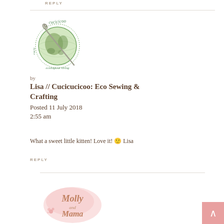REPLY
[Figure (logo): Cucicucicoo ecological living logo — a globe with sewing needle and decorative script text around it in green tones]
by
Lisa // Cucicucicoo: Eco Sewing & Crafting
Posted 11 July 2018
2:55 am
What a sweet little kitten! Love it! 🙂 Lisa
REPLY
[Figure (logo): Molly and Mama logo — cursive script text on a soft pink watercolor blob background with small floral decoration]